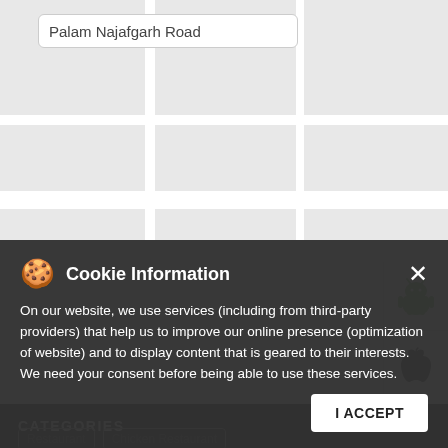[Figure (screenshot): Map background showing a grey road/area map]
Palam Najafgarh Road
[Figure (logo): Android logo (green robot icon)]
[Figure (logo): Apple logo (black Apple icon)]
CATEGORIES
Restaurant
Chicken Restaurant
Fried Chicken Takeaway
Non-veg Restaurant
Fast Food Restaurant
Cookie Information
On our website, we use services (including from third-party providers) that help us to improve our online presence (optimization of website) and to display content that is geared to their interests. We need your consent before being able to use these services.
I ACCEPT